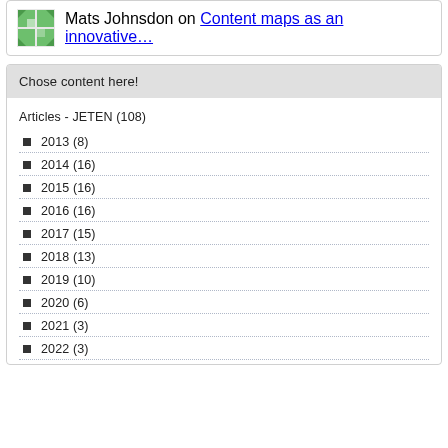Mats Johnsdon on Content maps as an innovative…
Chose content here!
Articles - JETEN (108)
2013 (8)
2014 (16)
2015 (16)
2016 (16)
2017 (15)
2018 (13)
2019 (10)
2020 (6)
2021 (3)
2022 (3)